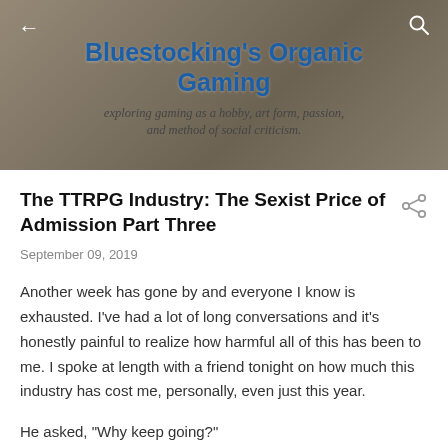Bluestocking's Organic Gaming
exploring gaming as a hobby, art form, passion, and method of social criticism.
The TTRPG Industry: The Sexist Price of Admission Part Three
September 09, 2019
Another week has gone by and everyone I know is exhausted. I've had a lot of long conversations and it's honestly painful to realize how harmful all of this has been to me. I spoke at length with a friend tonight on how much this industry has cost me, personally, even just this year.
He asked, "Why keep going?"